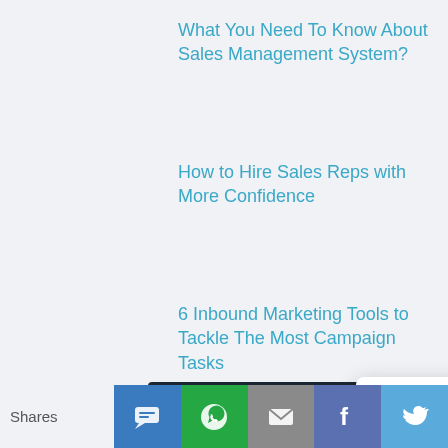What You Need To Know About Sales Management System?
How to Hire Sales Reps with More Confidence
6 Inbound Marketing Tools to Tackle The Most Campaign Tasks
[Figure (screenshot): Dark navy promo banner partially visible: 'DOWNLO... GOOD ST... Sales res... with heart for growing sales team...' with a chat popup overlay saying 'Got any questions? I'm happy to help.' with a close X button and a person avatar, plus a pink chat button]
Shares | SMS share | WhatsApp share | Email share | Facebook share | Twitter share